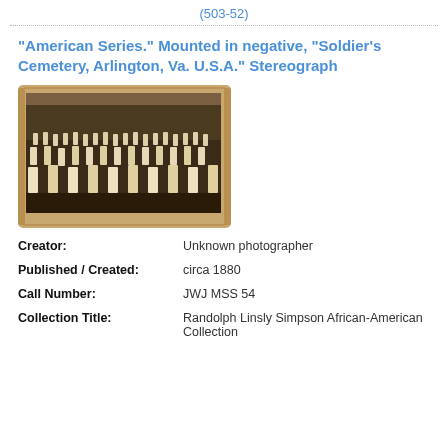(503-52)
“American Series.” Mounted in negative, “Soldier’s Cemetery, Arlington, Va. U.S.A.” Stereograph
[Figure (photo): Stereograph image showing Soldier's Cemetery in Arlington, Virginia, circa 1880. Sepia-toned photograph mounted on card showing rows of white grave markers and trees.]
| Creator: | Unknown photographer |
| Published / Created: | circa 1880 |
| Call Number: | JWJ MSS 54 |
| Collection Title: | Randolph Linsly Simpson African-American Collection |